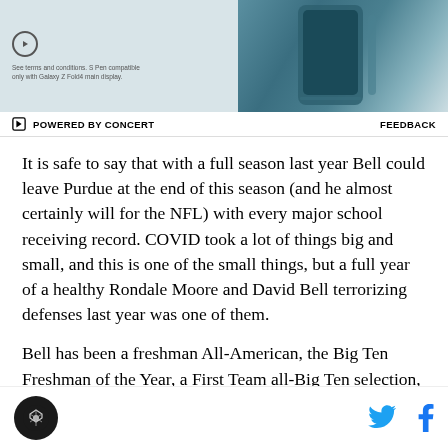[Figure (photo): Advertisement banner showing a Samsung Galaxy Z Fold4 smartphone with S Pen, teal/blue color scheme. Small play button icon on left with fine print text about terms and conditions.]
POWERED BY CONCERT   FEEDBACK
It is safe to say that with a full season last year Bell could leave Purdue at the end of this season (and he almost certainly will for the NFL) with every major school receiving record. COVID took a lot of things big and small, and this is one of the small things, but a full year of a healthy Rondale Moore and David Bell terrorizing defenses last year was one of them.
Bell has been a freshman All-American, the Big Ten Freshman of the Year, a First Team all-Big Ten selection, and an Academic all-Big Ten selection. In his